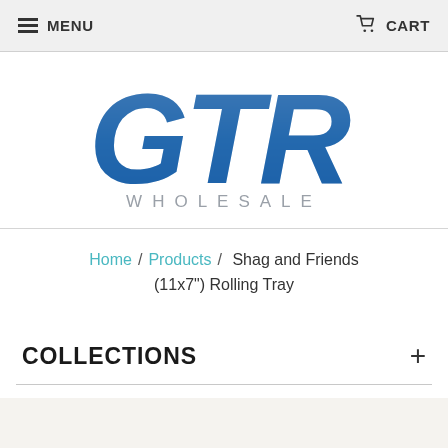MENU   CART
[Figure (logo): GTR Wholesale logo — large bold blue italic letters 'GTR' with 'WHOLESALE' in grey spaced lettering below]
Home / Products / Shag and Friends (11x7") Rolling Tray
COLLECTIONS +